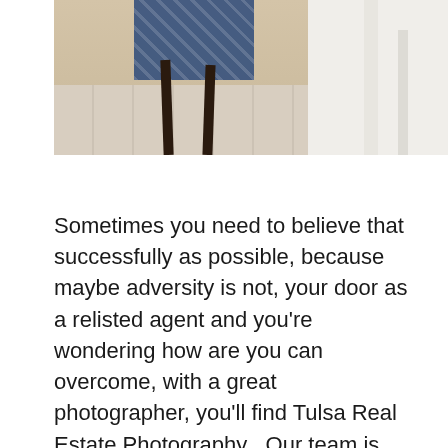[Figure (photo): Interior real estate photo showing a room with hardwood-style tile flooring, chair with blue patterned upholstery and dark legs, and white furniture/shelf on the right side.]
Sometimes you need to believe that successfully as possible, because maybe adversity is not, your door as a relisted agent and you're wondering how are you can overcome, with a great photographer, you'll find Tulsa Real Estate Photography . Our team is passionate about what we can do for others. And if you're looking for people that make amazing great things happen indefinitely connect with our great. Our team is ready make sure that you are getting the most incredible solutions. Call us when you're